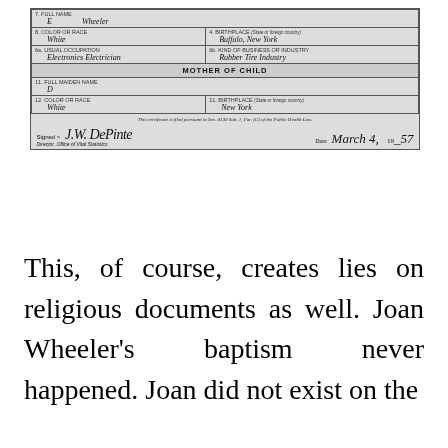[Figure (other): Scanned birth certificate form (partial) showing fields for father's full name (E Wheeler), color or race (White), birthplace (Buffalo, New York), usual occupation (Electronics Electrician), kind of business or industry (Rubber Tire Industry), section header MOTHER OF CHILD, mother's full maiden name (D), color or race (White), birthplace (New York), a notice about filing, a signature, and date March 4, 19_57.]
This, of course, creates lies on religious documents as well. Joan Wheeler's baptism never happened. Joan did not exist on the